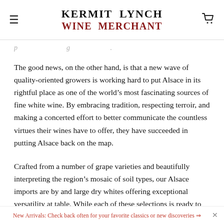KERMIT LYNCH WINE MERCHANT
The good news, on the other hand, is that a new wave of quality-oriented growers is working hard to put Alsace in its rightful place as one of the world’s most fascinating sources of fine white wine. By embracing tradition, respecting terroir, and making a concerted effort to better communicate the countless virtues their wines have to offer, they have succeeded in putting Alsace back on the map.
Crafted from a number of grape varieties and beautifully interpreting the region’s mosaic of soil types, our Alsace imports are by and large dry whites offering exceptional versatility at table. While each of these selections is ready to be uncorked tonight, the finest among them are also capable of maturing for many more years in a good cellar. Expect hold-ageing…
New Arrivals: Check back often for your favorite classics or new discoveries ⇒